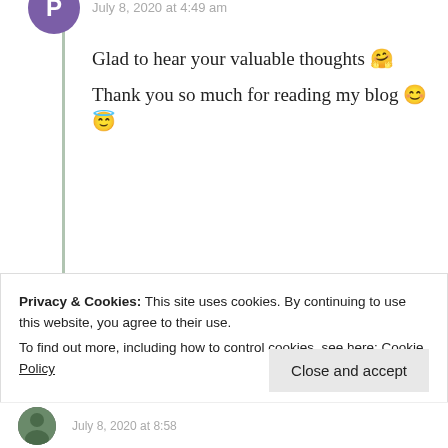July 8, 2020 at 4:49 am
Glad to hear your valuable thoughts 🤗
Thank you so much for reading my blog 😊😇
★ Liked by 2 people
↪ Reply
Privacy & Cookies: This site uses cookies. By continuing to use this website, you agree to their use.
To find out more, including how to control cookies, see here: Cookie Policy
Close and accept
July 8, 2020 at 8:58